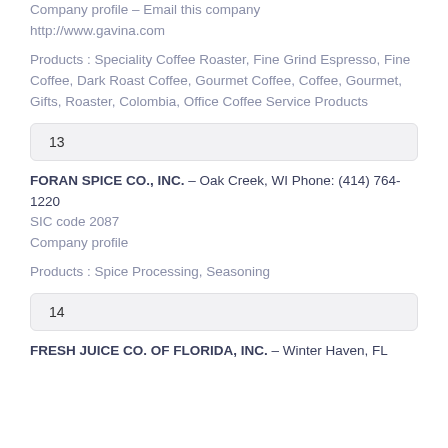Company profile – Email this company
http://www.gavina.com
Products : Speciality Coffee Roaster, Fine Grind Espresso, Fine Coffee, Dark Roast Coffee, Gourmet Coffee, Coffee, Gourmet, Gifts, Roaster, Colombia, Office Coffee Service Products
13
FORAN SPICE CO., INC. – Oak Creek, WI Phone: (414) 764-1220
SIC code 2087
Company profile
Products : Spice Processing, Seasoning
14
FRESH JUICE CO. OF FLORIDA, INC. – Winter Haven, FL